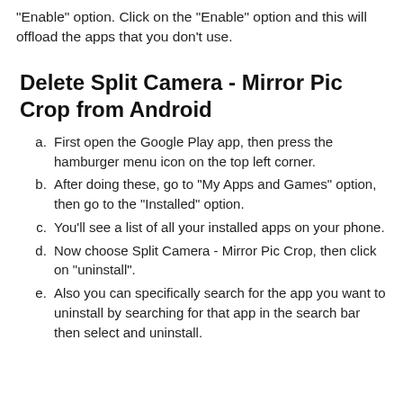"Enable" option. Click on the "Enable" option and this will offload the apps that you don't use.
Delete Split Camera - Mirror Pic Crop from Android
First open the Google Play app, then press the hamburger menu icon on the top left corner.
After doing these, go to "My Apps and Games" option, then go to the "Installed" option.
You'll see a list of all your installed apps on your phone.
Now choose Split Camera - Mirror Pic Crop, then click on "uninstall".
Also you can specifically search for the app you want to uninstall by searching for that app in the search bar then select and uninstall.